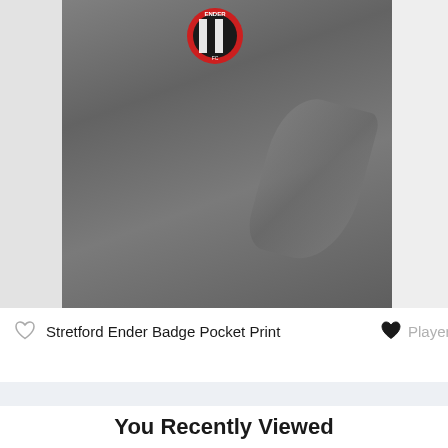[Figure (photo): Product image of a dark grey Stretford Ender Badge Pocket Print t-shirt with a circular red and black badge/logo on the chest. Partial images of other products visible on left and right edges.]
Stretford Ender Badge Pocket Print
Player
Product Tags
Badge
You Recently Viewed